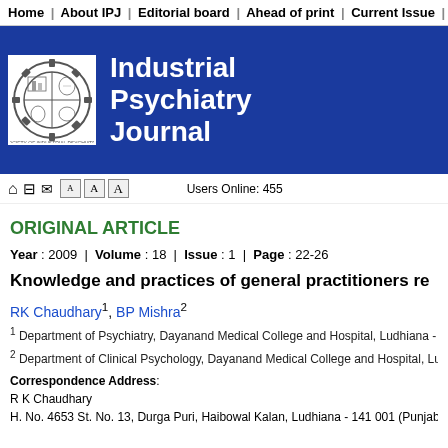Home | About IPJ | Editorial board | Ahead of print | Current Issue | Arc
[Figure (logo): Industrial Psychiatry Journal logo with gear/cog emblem and journal name in white on blue background]
Users Online: 455
ORIGINAL ARTICLE
Year : 2009  |  Volume : 18  |  Issue : 1  |  Page : 22-26
Knowledge and practices of general practitioners re
RK Chaudhary1, BP Mishra2
1 Department of Psychiatry, Dayanand Medical College and Hospital, Ludhiana - 141001, P
2 Department of Clinical Psychology, Dayanand Medical College and Hospital, Ludhiana - 1
Correspondence Address:
R K Chaudhary
H. No. 4653 St. No. 13, Durga Puri, Haibowal Kalan, Ludhiana - 141 001 (Punjab)